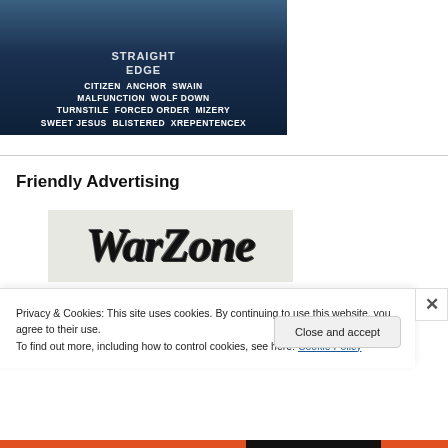[Figure (photo): Concert/festival event poster with dark blue toned photo of crowd. Text reads 'STRAIGHT EDGE' at top, then band names: CITIZEN ANCHOR SWAIN / MALFUNCTION WOLF DOWN / TURNSTILE FORCED ORDER MIZERY / SWEET JESUS BLISTERED XREPENTENCEX]
Friendly Advertising
[Figure (logo): WarZone logo - stylized gothic/blackletter text on grey background]
Privacy & Cookies: This site uses cookies. By continuing to use this website, you agree to their use.
To find out more, including how to control cookies, see here: Cookie Policy
Close and accept